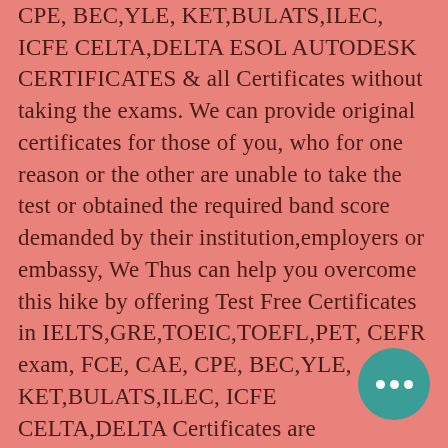CPE, BEC,YLE, KET,BULATS,ILEC, ICFE CELTA,DELTA ESOL AUTODESK CERTIFICATES & all Certificates without taking the exams. We can provide original certificates for those of you, who for one reason or the other are unable to take the test or obtained the required band score demanded by their institution,employers or embassy, We Thus can help you overcome this hike by offering Test Free Certificates in IELTS,GRE,TOEIC,TOEFL,PET, CEFR exam, FCE, CAE, CPE, BEC,YLE, KET,BULATS,ILEC, ICFE CELTA,DELTA Certificates are original/Real issueds by the official Ielts,Toefl and GRE Authorities. certificates can be verified and results can be seen at the British Council or idp ielts.org website .we do not have any questions to ask, you need certification in IELTS,TOEFL,Toeic and other Certificates urgently? WE CAN HELP! . We do provide only original certificates with
[Figure (illustration): Teal circular chat bubble with three white dots (ellipsis), positioned in lower right area]